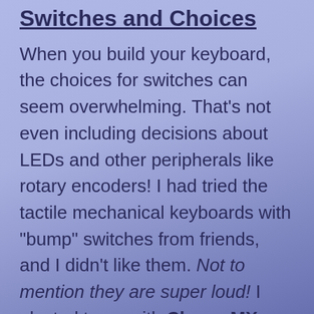Switches and Choices
When you build your keyboard, the choices for switches can seem overwhelming. That's not even including decisions about LEDs and other peripherals like rotary encoders! I had tried the tactile mechanical keyboards with "bump" switches from friends, and I didn't like them. Not to mention they are super loud! I elected to go with Cherry MX "silent" switches. For the record, they're still too loud, oh well. After being used to scissor-switch mechanisms on laptop